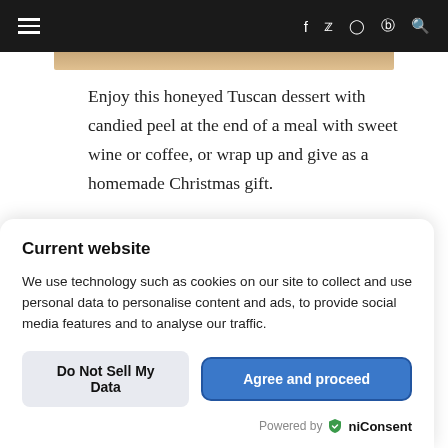≡  f  𝕏  ◎  ⊕  🔍
[Figure (photo): Partial view of a Tuscan honeyed dessert with candied peel, top strip visible]
Enjoy this honeyed Tuscan dessert with candied peel at the end of a meal with sweet wine or coffee, or wrap up and give as a homemade Christmas gift.
Current website
We use technology such as cookies on our site to collect and use personal data to personalise content and ads, to provide social media features and to analyse our traffic.
Do Not Sell My Data   Agree and proceed
Powered by 🛡niConsent